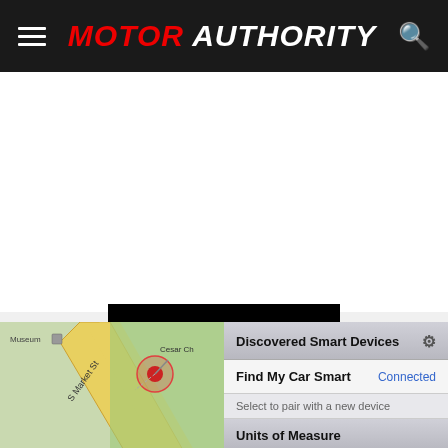MOTOR AUTHORITY
[Figure (screenshot): Mobile app screenshot showing two panels side by side. Left panel: a map view with a red pin marker and a blue location dot on a street map showing S Market St and Cesar Ch area. Right panel: iOS app settings screen showing 'Discovered Smart Devices' section with 'Find My Car Smart' device listed as Connected, a 'Select to pair with a new device' option, 'Units of Measure' toggle with Metric selected (blue) and Standard option, and 'Background Operation' section header.]